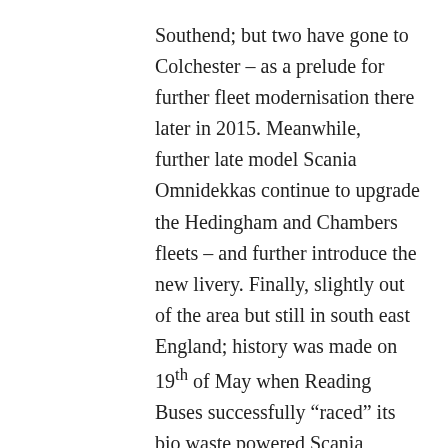Southend; but two have gone to Colchester – as a prelude for further fleet modernisation there later in 2015. Meanwhile, further late model Scania Omnidekkas continue to upgrade the Hedingham and Chambers fleets – and further introduce the new livery. Finally, slightly out of the area but still in south east England; history was made on 19th of May when Reading Buses successfully “raced” its bio waste powered Scania K270UB/Enviro 300 around the Littlebrook test track in Bedfordshire – attaining a top speed of 80 miles per hour. Still 20 mph short of